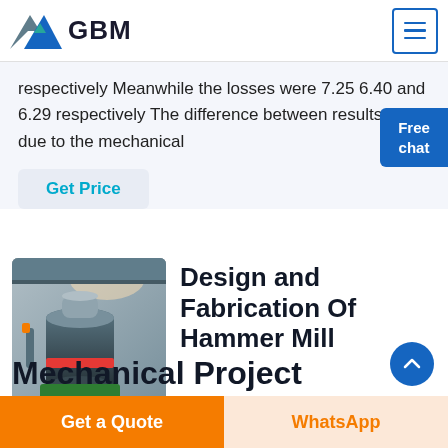GBM
respectively Meanwhile the losses were 7.25 6.40 and 6.29 respectively The difference between results was due to the mechanical
Get Price
[Figure (photo): Industrial hammer mill machine in a factory setting]
Design and Fabrication Of Hammer Mill Mechanical Project